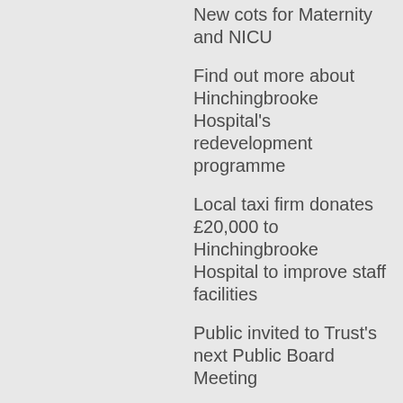New cots for Maternity and NICU
Find out more about Hinchingbrooke Hospital's redevelopment programme
Local taxi firm donates £20,000 to Hinchingbrooke Hospital to improve staff facilities
Public invited to Trust's next Public Board Meeting
Bronze accreditation success for NICU and SCBU
New Professional Midwifery Advocate appointed at NWAngliaFT
Local hospitals welcome new arrivals